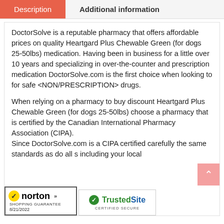Description
Additional information
DoctorSolve is a reputable pharmacy that offers affordable prices on quality Heartgard Plus Chewable Green (for dogs 25-50lbs) medication. Having been in business for a little over 10 years and specializing in over-the-counter and prescription medication DoctorSolve.com is the first choice when looking to for safe <NON/PRESCRIPTION> drugs.
When relying on a pharmacy to buy discount Heartgard Plus Chewable Green (for dogs 25-50lbs) choose a pharmacy that is certified by the Canadian International Pharmacy Association (CIPA).
Since DoctorSolve.com is a CIPA certified carefully the same standards as do all s including your local